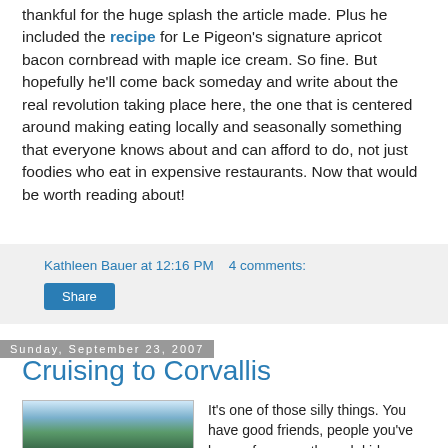thankful for the huge splash the article made. Plus he included the recipe for Le Pigeon's signature apricot bacon cornbread with maple ice cream. So fine. But hopefully he'll come back someday and write about the real revolution taking place here, the one that is centered around making eating locally and seasonally something that everyone knows about and can afford to do, not just foodies who eat in expensive restaurants. Now that would be worth reading about!
Kathleen Bauer at 12:16 PM   4 comments:
Share
Sunday, September 23, 2007
Cruising to Corvallis
[Figure (photo): Outdoor photo showing trees and sky]
It's one of those silly things. You have good friends, people you've known for years through kids, work,